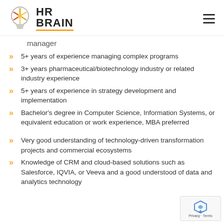HR BRAIN
manager
5+ years of experience managing complex programs
3+ years pharmaceutical/biotechnology industry or related industry experience
5+ years of experience in strategy development and implementation
Bachelor's degree in Computer Science, Information Systems, or equivalent education or work experience, MBA preferred
Very good understanding of technology-driven transformation projects and commercial ecosystems
Knowledge of CRM and cloud-based solutions such as Salesforce, IQVIA, or Veeva and a good understanding of data and analytics technology